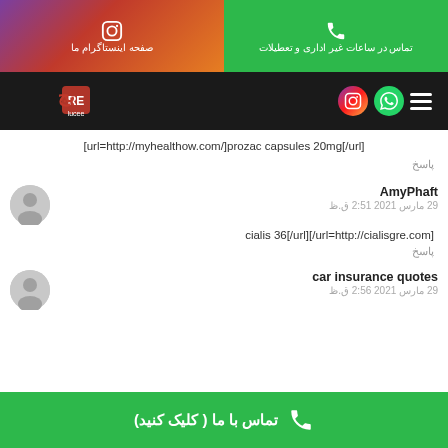تماس در ساعات غیر اداری و تعطیلات | صفحه اینستاگرام ما
[Figure (screenshot): Navigation bar with hamburger menu, WhatsApp and Instagram icons, and site logo]
[url=http://myhealthow.com/]prozac capsules 20mg[/url]
پاسخ
AmyPhaft
29 مارس 2021 2:51 ق.ظ
cialis 36[/url][/url=http://cialisgre.com]
پاسخ
car insurance quotes
29 مارس 2021 2:56 ق.ظ
تماس با ما ( کلیک کنید)